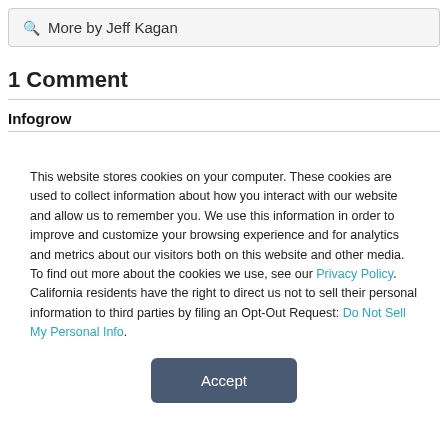🔍 More by Jeff Kagan
1 Comment
Infogrow
This website stores cookies on your computer. These cookies are used to collect information about how you interact with our website and allow us to remember you. We use this information in order to improve and customize your browsing experience and for analytics and metrics about our visitors both on this website and other media. To find out more about the cookies we use, see our Privacy Policy. California residents have the right to direct us not to sell their personal information to third parties by filing an Opt-Out Request: Do Not Sell My Personal Info.
Accept